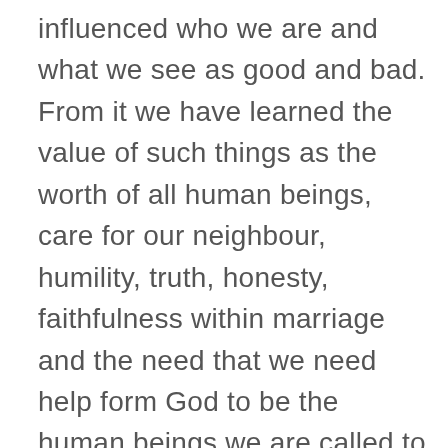influenced who we are and what we see as good and bad. From it we have learned the value of such things as the worth of all human beings, care for our neighbour, humility, truth, honesty, faithfulness within marriage and the need that we need help form God to be the human beings we are called to be. We may not have always practised what the Bible preaches, or always been consciously aware of what it says, but it has been our benchmark in setting our values and standards. It is symptomatic of the Bible's influence that it is given to the monarch at the coronation and that a copy is